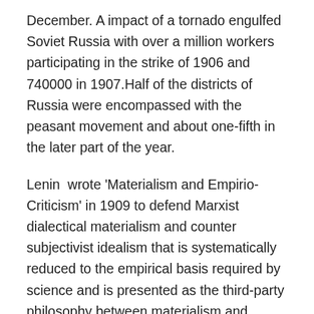December. A impact of a tornado engulfed Soviet Russia with over a million workers participating in the strike of 1906 and 740000 in 1907.Half of the districts of Russia were encompassed with the peasant movement and about one-fifth in the later part of the year.
Lenin wrote 'Materialism and Empirio-Criticism' in 1909 to defend Marxist dialectical materialism and counter subjectivist idealism that is systematically reduced to the empirical basis required by science and is presented as the third-party philosophy between materialism and idealism. The philosophical work is important because it refutes the bourgeois subjectivists who invoke empiricism and science to distort the objective reality and inner